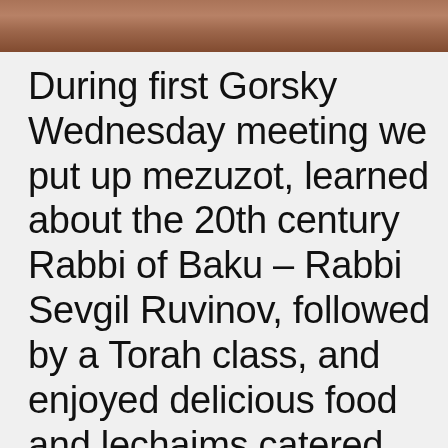[Figure (photo): Partial photo strip at top of page showing people, cropped]
During first Gorsky Wednesday meeting we put up mezuzot, learned about the 20th century Rabbi of Baku – Rabbi Sevgil Ruvinov, followed by a Torah class, and enjoyed delicious food and lechaims catered by the King Solomon restaurant. We would like to thank Roma Yusufov, Fima Khananayev, and